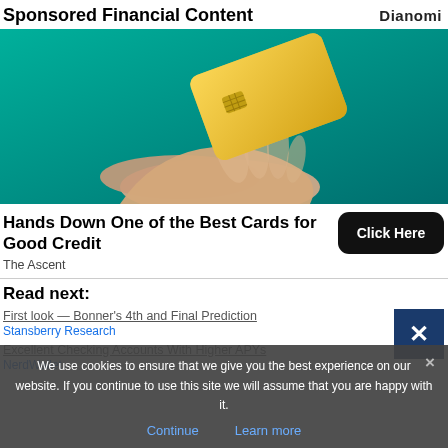Sponsored Financial Content
[Figure (photo): Hand reaching up toward a floating gold credit card against a teal/green background.]
Hands Down One of the Best Cards for Good Credit
The Ascent
Read next:
First look — Bonner's 4th and Final Prediction
Stansberry Research
Excellent Checking Accounts With Higher APYs
NerdWallet
We use cookies to ensure that we give you the best experience on our website. If you continue to use this site we will assume that you are happy with it.